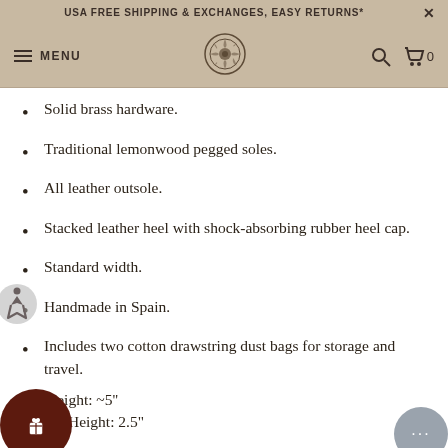USA FREE SHIPPING & EXCHANGES, EASY RETURNS*
Solid brass hardware.
Traditional lemonwood pegged soles.
All leather outsole.
Stacked leather heel with shock-absorbing rubber heel cap.
Standard width.
Handmade in Spain.
Includes two cotton drawstring dust bags for storage and travel.
Height: ~5''
eel Height: 2.5"